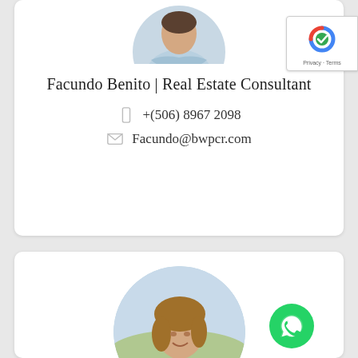[Figure (photo): Circular profile photo of Facundo Benito, a man with arms crossed wearing a light blue shirt, partially cropped at top]
Facundo Benito | Real Estate Consultant
+(506) 8967 2098
Facundo@bwpcr.com
[Figure (photo): Circular profile photo of a smiling woman with long brown hair wearing a light teal/mint polo shirt with a logo, outdoor background]
[Figure (logo): reCAPTCHA verification badge with Privacy and Terms links]
[Figure (logo): WhatsApp green circle button icon]